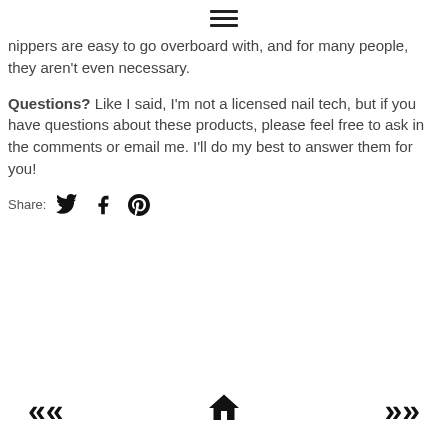≡ (hamburger menu icon)
nippers are easy to go overboard with, and for many people, they aren't even necessary.
Questions? Like I said, I'm not a licensed nail tech, but if you have questions about these products, please feel free to ask in the comments or email me. I'll do my best to answer them for you!
Share: [Twitter] [Facebook] [Pinterest]
<< [home] >>